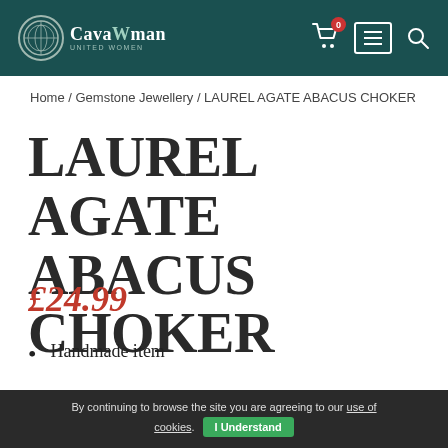CavaWoman
Home / Gemstone Jewellery / LAUREL AGATE ABACUS CHOKER
LAUREL AGATE ABACUS CHOKER
£24.99
Handmade item
Materials: onyx gem pendants silver plated,
By continuing to browse the site you are agreeing to our use of cookies. I Understand